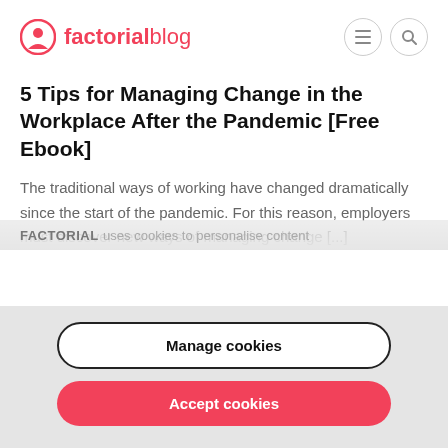factorial blog
5 Tips for Managing Change in the Workplace After the Pandemic [Free Ebook]
The traditional ways of working have changed dramatically since the start of the pandemic. For this reason, employers must discover new ways of managing change [...]
FACTORIAL uses cookies to personalise content
Manage cookies
Accept cookies